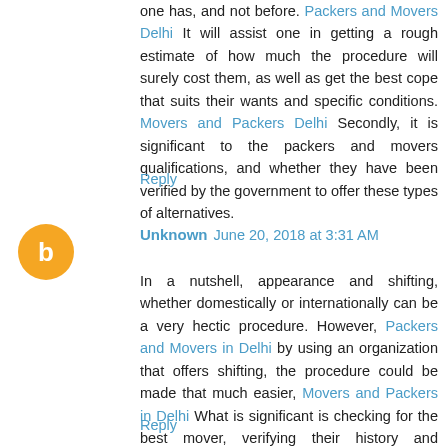one has, and not before. Packers and Movers Delhi It will assist one in getting a rough estimate of how much the procedure will surely cost them, as well as get the best cope that suits their wants and specific conditions. Movers and Packers Delhi Secondly, it is significant to the packers and movers qualifications, and whether they have been verified by the government to offer these types of alternatives.
Reply
Unknown  June 20, 2018 at 3:31 AM
In a nutshell, appearance and shifting, whether domestically or internationally can be a very hectic procedure. However, Packers and Movers in Delhi by using an organization that offers shifting, the procedure could be made that much easier, Movers and Packers in Delhi What is significant is checking for the best mover, verifying their history and qualifications, and ensuring that you get the best affordable from lodge logic.
Reply